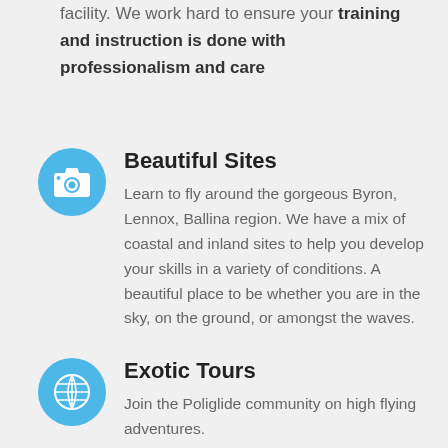facility. We work hard to ensure your training and instruction is done with professionalism and care
Beautiful Sites
Learn to fly around the gorgeous Byron, Lennox, Ballina region. We have a mix of coastal and inland sites to help you develop your skills in a variety of conditions. A beautiful place to be whether you are in the sky, on the ground, or amongst the waves.
Exotic Tours
Join the Poliglide community on high flying adventures.